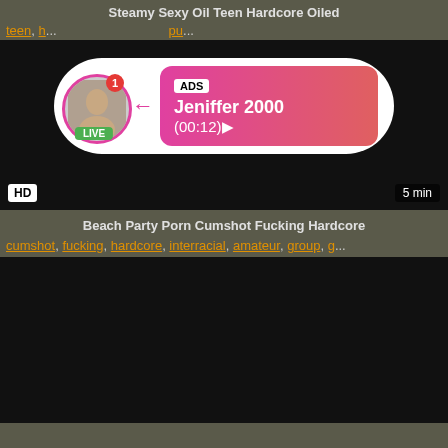Steamy Sexy Oil Teen Hardcore Oiled
teen, h... ...pu...
[Figure (screenshot): Black video thumbnail with HD badge and 5 min duration, with an ad overlay showing a live user 'Jeniffer 2000' with (00:12) timer]
Beach Party Porn Cumshot Fucking Hardcore
cumshot, fucking, hardcore, interracial, amateur, group, g...
[Figure (screenshot): Black video thumbnail, second video]